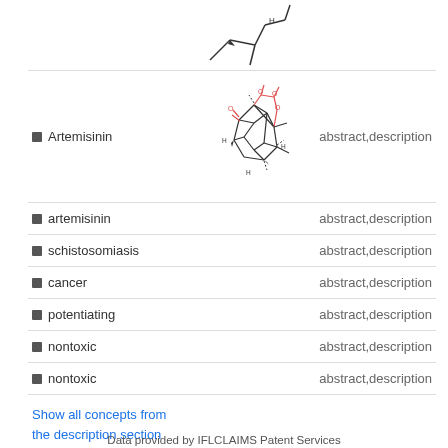[Figure (schematic): Partial chemical structure at top of page (cyclohexane-based ring system)]
| Name | Structure | Source |
| --- | --- | --- |
| Artemisinin | [chemical structure] | abstract,description |
| artemisinin |  | abstract,description |
| schistosomiasis |  | abstract,description |
| cancer |  | abstract,description |
| potentiating |  | abstract,description |
| nontoxic |  | abstract,description |
| nontoxic |  | abstract,description |
Show all concepts from the description section
Data provided by IFLCLAIMS Patent Services